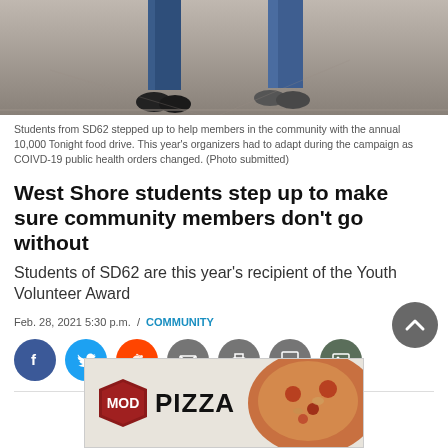[Figure (photo): Photo showing the lower half of two people standing on a concrete surface, wearing jeans and shoes. Cropped to show only from knees down.]
Students from SD62 stepped up to help members in the community with the annual 10,000 Tonight food drive. This year's organizers had to adapt during the campaign as COIVD-19 public health orders changed. (Photo submitted)
West Shore students step up to make sure community members don't go without
Students of SD62 are this year's recipient of the Youth Volunteer Award
Feb. 28, 2021 5:30 p.m. / COMMUNITY
[Figure (infographic): Social media share buttons: Facebook (blue circle with f), Twitter (light blue circle with bird), Reddit (orange circle with alien), email (grey circle with envelope), print (grey circle with printer), comment (grey circle with chat bubble), image (grey circle with picture icon).]
[Figure (photo): Advertisement banner for MOD Pizza showing the MOD shield logo on the left and a pizza with toppings on the right.]